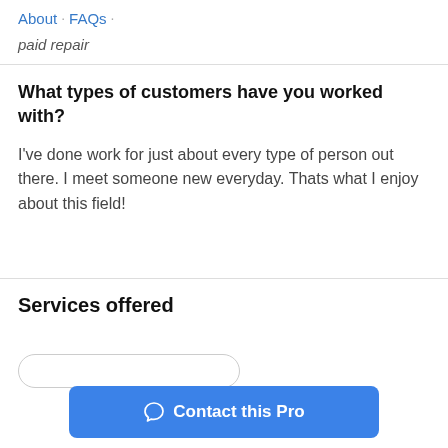About · FAQs ·
paid repair
What types of customers have you worked with?
I've done work for just about every type of person out there. I meet someone new everyday. Thats what I enjoy about this field!
Services offered
Contact this Pro